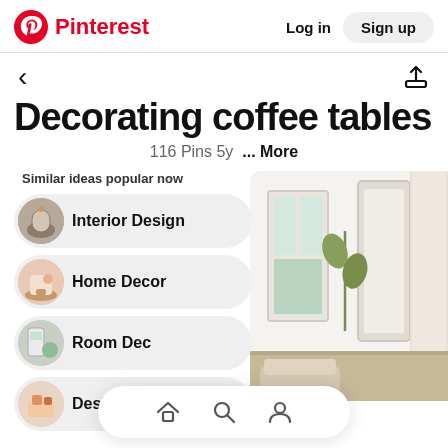Pinterest  Log in  Sign up
< (back arrow) and share icon
Decorating coffee tables
116 Pins 5y ... More
Similar ideas popular now
Interior Design
Home Decor
Room Decor
Design
[Figure (photo): Right side: bright white interior room photo with large windows, curtains, and a chair visible]
Bottom navigation bar with home, search, and profile icons